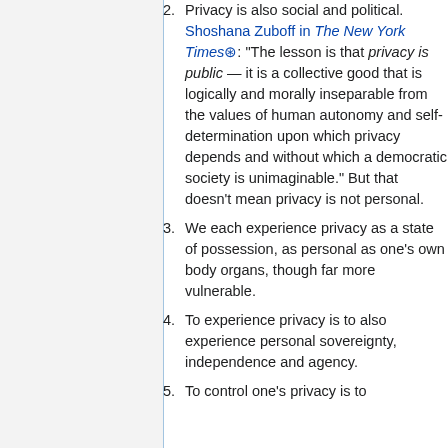Privacy is also social and political. Shoshana Zuboff in The New York Times: "The lesson is that privacy is public — it is a collective good that is logically and morally inseparable from the values of human autonomy and self-determination upon which privacy depends and without which a democratic society is unimaginable." But that doesn't mean privacy is not personal.
We each experience privacy as a state of possession, as personal as one's own body organs, though far more vulnerable.
To experience privacy is to also experience personal sovereignty, independence and agency.
To control one's privacy is to...